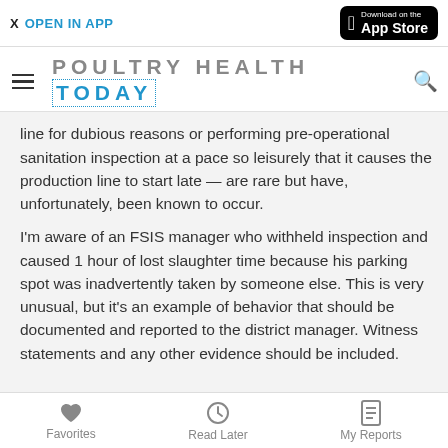X  OPEN IN APP | Download on the App Store
POULTRY HEALTH TODAY
line for dubious reasons or performing pre-operational sanitation inspection at a pace so leisurely that it causes the production line to start late — are rare but have, unfortunately, been known to occur.
I'm aware of an FSIS manager who withheld inspection and caused 1 hour of lost slaughter time because his parking spot was inadvertently taken by someone else. This is very unusual, but it's an example of behavior that should be documented and reported to the district manager. Witness statements and any other evidence should be included.
Favorites   Read Later   My Reports